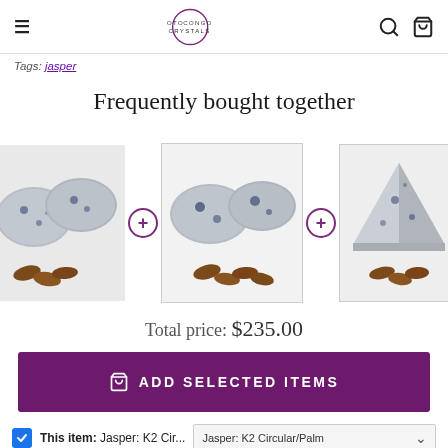Otocongo Crystals
Tags: jasper
Frequently bought together
[Figure (photo): Three product stones (K2 Jasper circular/palm stones) shown side by side with plus icons between them, arranged in a row for a 'frequently bought together' display.]
Total price: $235.00
ADD SELECTED ITEMS
This item: Jasper: K2 Cir... — Jasper: K2 Circular/Palm (dropdown)